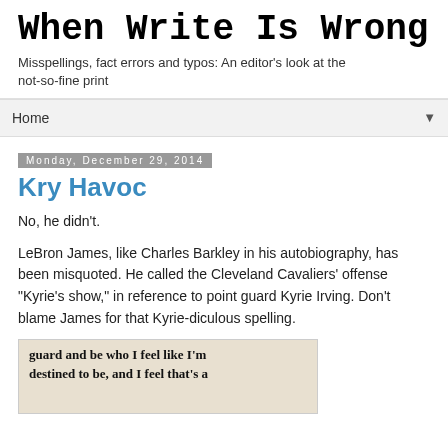When Write Is Wrong
Misspellings, fact errors and typos: An editor’s look at the not-so-fine print
Home
Monday, December 29, 2014
Kry Havoc
No, he didn’t.
LeBron James, like Charles Barkley in his autobiography, has been misquoted. He called the Cleveland Cavaliers’ offense “Kyrie’s show,” in reference to point guard Kyrie Irving. Don’t blame James for that Kyrie-diculous spelling.
[Figure (photo): Clipping of a newspaper excerpt with bold serif text reading: 'guard and be who I feel like I'm destined to be, and I feel that's a' followed by partial next line]